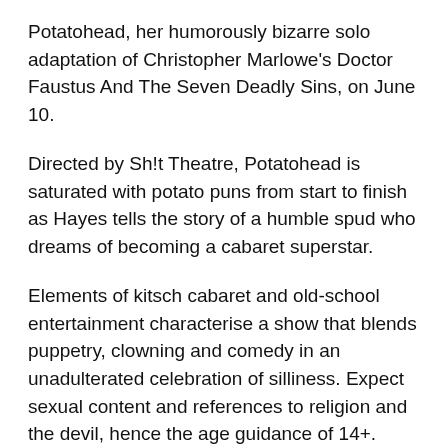Potatohead, her humorously bizarre solo adaptation of Christopher Marlowe's Doctor Faustus And The Seven Deadly Sins, on June 10.
Directed by Sh!t Theatre, Potatohead is saturated with potato puns from start to finish as Hayes tells the story of a humble spud who dreams of becoming a cabaret superstar.
Elements of kitsch cabaret and old-school entertainment characterise a show that blends puppetry, clowning and comedy in an unadulterated celebration of silliness. Expect sexual content and references to religion and the devil, hence the age guidance of 14+.
Hayes's debut UK theatre tour of her one-potato show has a further North Yorkshire performance on June 14 at the Stephen Joseph Theatre, Scarborough (box office,